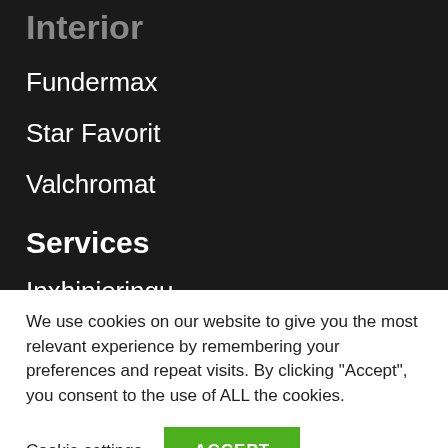Interior
Fundermax
Star Favorit
Valchromat
Services
Inxhinieringu
We use cookies on our website to give you the most relevant experience by remembering your preferences and repeat visits. By clicking “Accept”, you consent to the use of ALL the cookies.
Cookie settings | ACCEPT